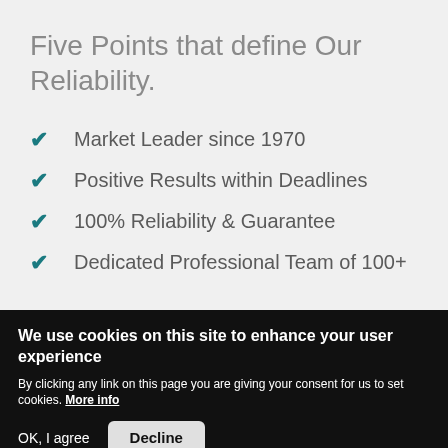Five Points that define Our Reliability.
Market Leader since 1970
Positive Results within Deadlines
100% Reliability & Guarantee
Dedicated Professional Team of 100+
We use cookies on this site to enhance your user experience
By clicking any link on this page you are giving your consent for us to set cookies. More info
OK, I agree
Decline